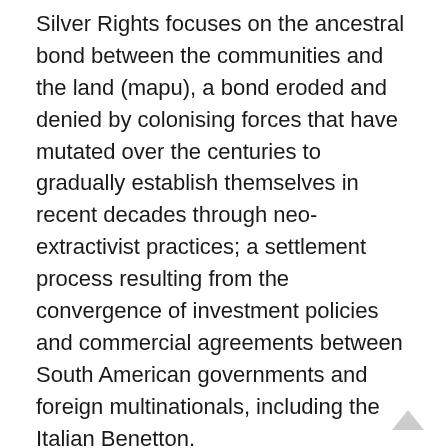Silver Rights focuses on the ancestral bond between the communities and the land (mapu), a bond eroded and denied by colonising forces that have mutated over the centuries to gradually establish themselves in recent decades through neo-extractivist practices; a settlement process resulting from the convergence of investment policies and commercial agreements between South American governments and foreign multinationals, including the Italian Benetton.
More specifically, the works in the exhibition and the display itself respond to the narrative proposed by the Leleque Museum, an anthropological museum opened in 2000 in the very lands owned by Benetton; an ambiguous operation that dismisses the Mapuche people as an extinct culture rather than one that is alive and active in the